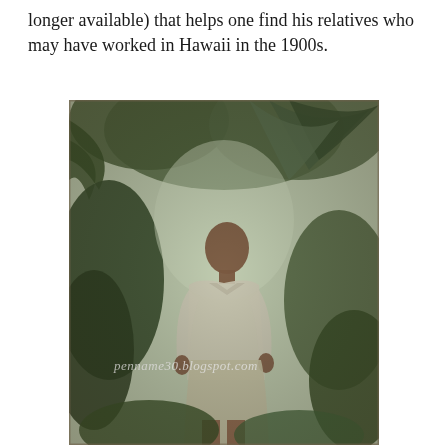longer available) that helps one find his relatives who may have worked in Hawaii in the 1900s.
[Figure (photo): Old photograph of a person standing outdoors among tropical vegetation including palm trees and shrubs. The photo has a vintage sepia/faded color tone. A watermark reads 'penname30.blogspot.com' across the lower middle portion of the image.]